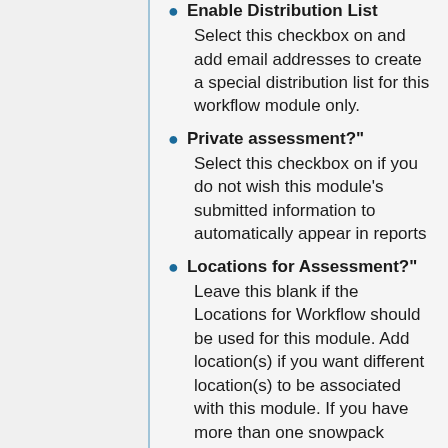Enable Distribution List
Select this checkbox on and add email addresses to create a special distribution list for this workflow module only.
Private assessment?"
Select this checkbox on if you do not wish this module's submitted information to automatically appear in reports
Locations for Assessment?"
Leave this blank if the Locations for Workflow should be used for this module. Add location(s) if you want different location(s) to be associated with this module. If you have more than one snowpack modules in a workflow they must be for different locations.